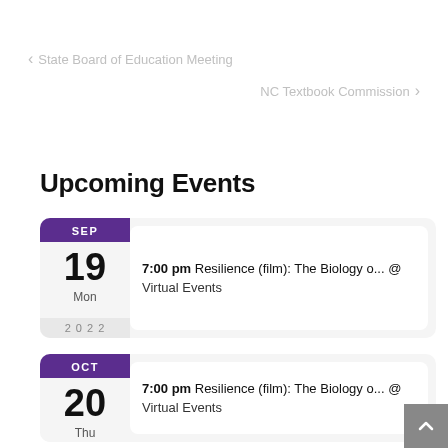< State Board of Education Meeting
NC Textbook Commission >
Upcoming Events
SEP 19 Mon 2022 — 7:00 pm Resilience (film): The Biology o... @ Virtual Events
OCT 20 Thu — 7:00 pm Resilience (film): The Biology o... @ Virtual Events